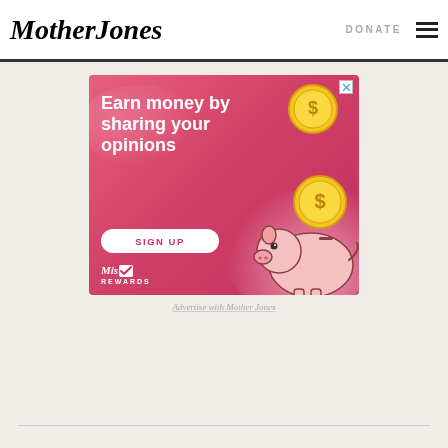Mother Jones | DONATE
[Figure (illustration): Advertisement banner: pink/red gradient background with headline 'Earn money by sharing your opinions', a white SIGN UP button, two gold dollar-sign coins, a cartoon piggy bank, and Mis Rewards logo at bottom left. Close X button at top right.]
Advertise with Mother Jones